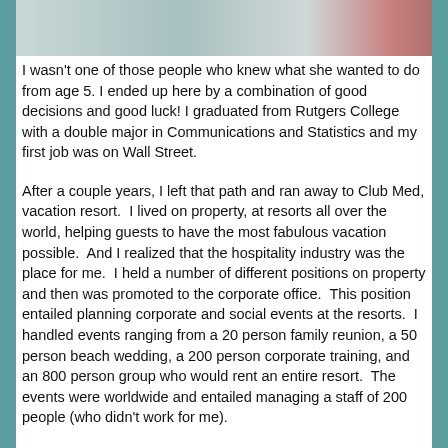[Figure (photo): Partial photo strip at top showing feet/shoes and other images, cropped]
I wasn't one of those people who knew what she wanted to do from age 5. I ended up here by a combination of good decisions and good luck! I graduated from Rutgers College with a double major in Communications and Statistics and my first job was on Wall Street.
After a couple years, I left that path and ran away to Club Med, vacation resort.  I lived on property, at resorts all over the world, helping guests to have the most fabulous vacation possible.  And I realized that the hospitality industry was the place for me.  I held a number of different positions on property and then was promoted to the corporate office.  This position entailed planning corporate and social events at the resorts.  I handled events ranging from a 20 person family reunion, a 50 person beach wedding, a 200 person corporate training, and an 800 person group who would rent an entire resort.  The events were worldwide and entailed managing a staff of 200 people (who didn't work for me).
I left Club Med and moved back to NJ to be near my family.  I got a job doing medical meeting